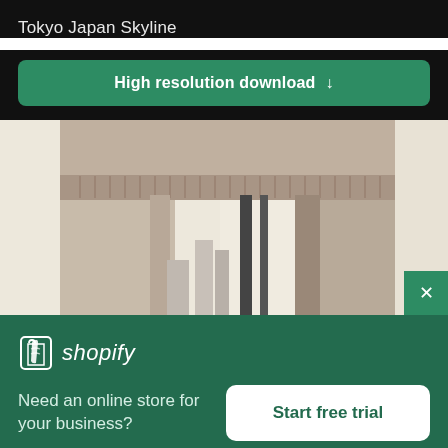Tokyo Japan Skyline
High resolution download ↓
[Figure (photo): Architectural photo showing a large concrete arch/gate structure viewed from below, with a pale sky background and buildings visible in the distance]
[Figure (logo): Shopify logo - shopping bag icon with 'shopify' text in italic]
Need an online store for your business?
Start free trial